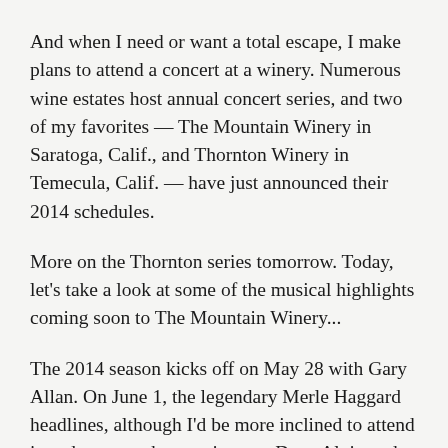And when I need or want a total escape, I make plans to attend a concert at a winery. Numerous wine estates host annual concert series, and two of my favorites — The Mountain Winery in Saratoga, Calif., and Thornton Winery in Temecula, Calif. — have just announced their 2014 schedules.
More on the Thornton series tomorrow. Today, let's take a look at some of the musical highlights coming soon to The Mountain Winery...
The 2014 season kicks off on May 28 with Gary Allan. On June 1, the legendary Merle Haggard headlines, although I'd be more inclined to attend in order to see the opening act: Dave Alvin and Phil Alvin with The Guilty Ones.
In July, Steely Dan, Boz Scaggs, Chris Isaak and